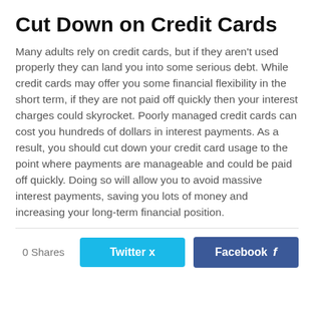Cut Down on Credit Cards
Many adults rely on credit cards, but if they aren't used properly they can land you into some serious debt. While credit cards may offer you some financial flexibility in the short term, if they are not paid off quickly then your interest charges could skyrocket. Poorly managed credit cards can cost you hundreds of dollars in interest payments. As a result, you should cut down your credit card usage to the point where payments are manageable and could be paid off quickly. Doing so will allow you to avoid massive interest payments, saving you lots of money and increasing your long-term financial position.
0 Shares
Twitter
Facebook